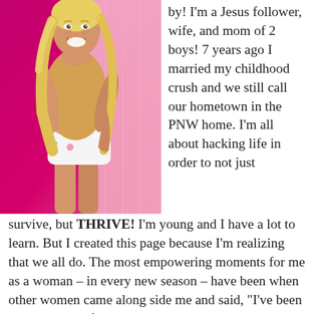[Figure (photo): Young blonde woman smiling, wearing a tan sleeveless top and white floral shorts, standing against a pink/purple background]
by! I'm a Jesus follower, wife, and mom of 2 boys! 7 years ago I married my childhood crush and we still call our hometown in the PNW home. I'm all about hacking life in order to not just survive, but THRIVE! I'm young and I have a lot to learn. But I created this page because I'm realizing that we all do. The most empowering moments for me as a woman – in every new season – have been when other women came along side me and said, "I've been there." Some of those women didn't even know me, but their honest words in book, podcast, or post form reminded me that I wasn't alone in this. Life is a learn-as-you-go